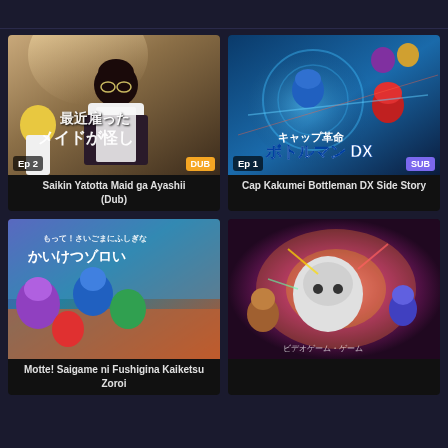[Figure (screenshot): Anime streaming grid layout with 4 anime thumbnails]
Ep 2 | DUB — Saikin Yatotta Maid ga Ayashii (Dub)
Ep 1 | SUB — Cap Kakumei Bottleman DX Side Story
[Figure (photo): Anime thumbnail for Motte! Saigame ni Fushigina Kaiketsu Zoroi]
[Figure (photo): Anime thumbnail for an action anime with colorful battle scene]